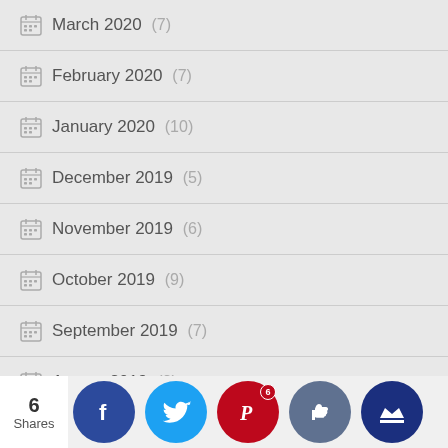March 2020 (7)
February 2020 (7)
January 2020 (10)
December 2019 (5)
November 2019 (6)
October 2019 (9)
September 2019 (7)
August 2019 (2)
July 2019 (5)
6 Shares — social share bar with Facebook, Twitter, Pinterest, Like, Crown buttons